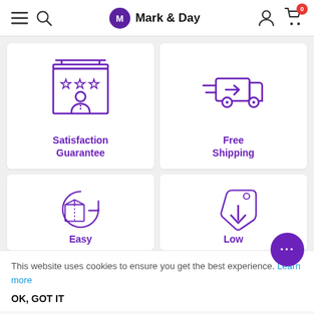Mark & Day — navigation header with hamburger menu, search, logo, user icon, cart (0 items)
[Figure (illustration): Purple line icon of a service counter with a person, three stars above, representing Satisfaction Guarantee]
Satisfaction Guarantee
[Figure (illustration): Purple line icon of a fast-moving delivery truck with an arrow, representing Free Shipping]
Free Shipping
[Figure (illustration): Purple line icon of a box with a circular arrow around it, representing Easy Returns]
Easy
[Figure (illustration): Purple line icon of a price tag with a downward arrow, representing Low prices]
Low
This website uses cookies to ensure you get the best experience. Learn more
OK, GOT IT